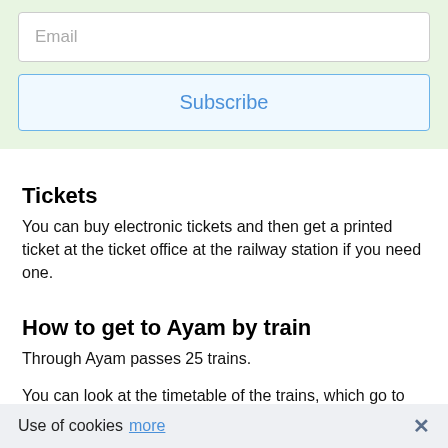[Figure (screenshot): Email subscription form with an email input field and a Subscribe button on a light green background]
Tickets
You can buy electronic tickets and then get a printed ticket at the ticket office at the railway station if you need one.
How to get to Ayam by train
Through Ayam passes 25 trains.
You can look at the timetable of the trains, which go to Ayam. You also can choose the most comfortable itinerary. more
Distance to Ayam
Use of cookies  more  ×